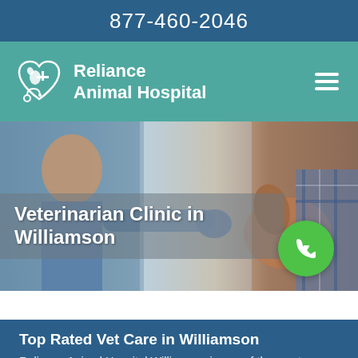877-460-2046
[Figure (logo): Reliance Animal Hospital logo with heart and animal silhouette]
Reliance Animal Hospital
[Figure (photo): Veterinarian in blue gloves examining a brown dog held by a person in plaid shirt]
Veterinarian Clinic in Williamson
[Figure (other): Green phone call button]
Top Rated Vet Care in Williamson
Reliance Animal Hospital Williamson is one of the most trusted veterinary clinics in Williamson